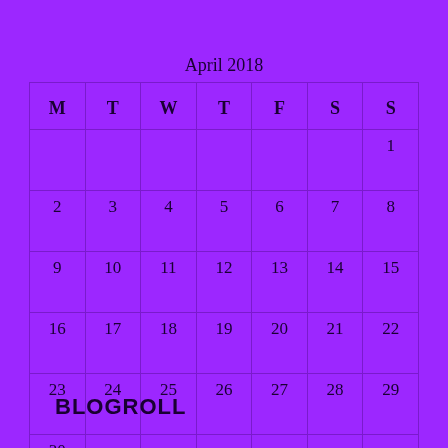April 2018
| M | T | W | T | F | S | S |
| --- | --- | --- | --- | --- | --- | --- |
|  |  |  |  |  |  | 1 |
| 2 | 3 | 4 | 5 | 6 | 7 | 8 |
| 9 | 10 | 11 | 12 | 13 | 14 | 15 |
| 16 | 17 | 18 | 19 | 20 | 21 | 22 |
| 23 | 24 | 25 | 26 | 27 | 28 | 29 |
| 30 |  |  |  |  |  |  |
« Mar  May »
BLOGROLL